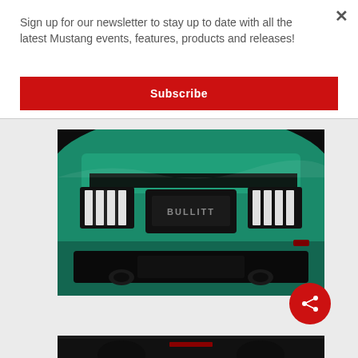Sign up for our newsletter to stay up to date with all the latest Mustang events, features, products and releases!
Subscribe
[Figure (photo): Close-up photo of the rear of a teal/green Ford Mustang sports car, showing the taillights and rear badging in a dark studio setting.]
[Figure (photo): Partial view of a dark-colored car, bottom portion cut off by page edge.]